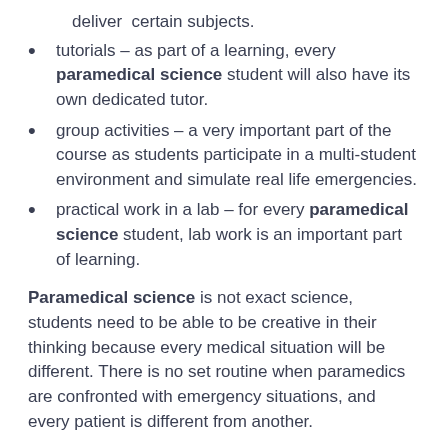deliver certain subjects.
tutorials – as part of a learning, every paramedical science student will also have its own dedicated tutor.
group activities – a very important part of the course as students participate in a multi-student environment and simulate real life emergencies.
practical work in a lab – for every paramedical science student, lab work is an important part of learning.
Paramedical science is not exact science, students need to be able to be creative in their thinking because every medical situation will be different. There is no set routine when paramedics are confronted with emergency situations, and every patient is different from another.
Patients can present symptoms that can be disease related, so paramedical science students are introduced to many practical examples in order for them to fully understand how to recognise and treat certain illnesses or indeed